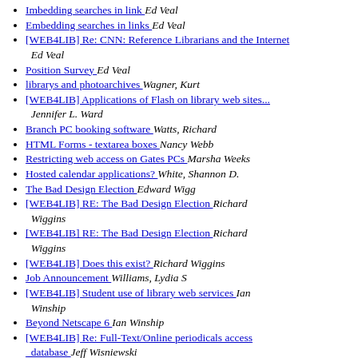Imbedding searches in link  Ed Veal
Embedding searches in links  Ed Veal
[WEB4LIB] Re: CNN: Reference Librarians and the Internet  Ed Veal
Position Survey  Ed Veal
librarys and photoarchives  Wagner, Kurt
[WEB4LIB] Applications of Flash on library web sites...  Jennifer L. Ward
Branch PC booking software  Watts, Richard
HTML Forms - textarea boxes  Nancy Webb
Restricting web access on Gates PCs  Marsha Weeks
Hosted calendar applications?  White, Shannon D.
The Bad Design Election  Edward Wigg
[WEB4LIB] RE: The Bad Design Election  Richard Wiggins
[WEB4LIB] RE: The Bad Design Election  Richard Wiggins
[WEB4LIB] Does this exist?  Richard Wiggins
Job Announcement  Williams, Lydia S
[WEB4LIB] Student use of library web services  Ian Winship
Beyond Netscape 6  Ian Winship
[WEB4LIB] Re: Full-Text/Online periodicals access database  Jeff Wisniewski
[WEB4LIB] Re: Beyond Netscape 6  Erwin Wodarczak